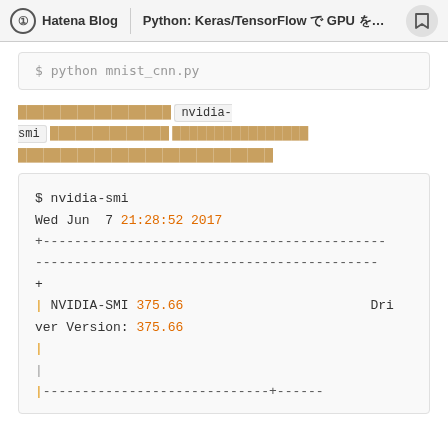Hatena Blog | Python: Keras/TensorFlow で GPU を使う...
$ python mnist_cnn.py (code block top, partially visible)
（Japanese text） nvidia-smi （Japanese text） （Japanese text）
（Japanese text）
$ nvidia-smi
Wed Jun  7 21:28:52 2017
+--------------------------------------...
--------------------------------------...
+
| NVIDIA-SMI 375.66                         Dri
ver Version: 375.66
|
|-----------------------------+------